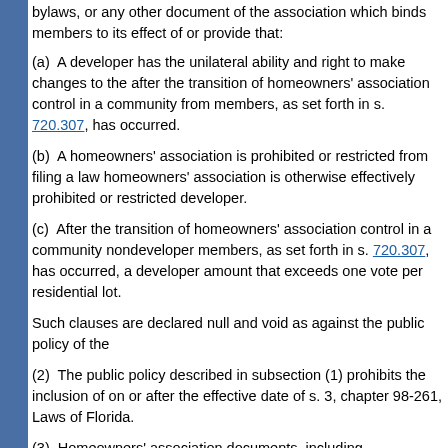bylaws, or any other document of the association which binds members to its effect of or provide that:
(a)  A developer has the unilateral ability and right to make changes to the after the transition of homeowners' association control in a community from members, as set forth in s. 720.307, has occurred.
(b)  A homeowners' association is prohibited or restricted from filing a law homeowners' association is otherwise effectively prohibited or restricted developer.
(c)  After the transition of homeowners' association control in a community nondeveloper members, as set forth in s. 720.307, has occurred, a developer amount that exceeds one vote per residential lot.
Such clauses are declared null and void as against the public policy of the
(2)  The public policy described in subsection (1) prohibits the inclusion of on or after the effective date of s. 3, chapter 98-261, Laws of Florida.
(3)  Homeowners' association documents, including declarations of covenants bylaws, may not preclude the display of one portable, removable United the flag must be displayed in a respectful manner, consistent with Title 36
(4)(a)  The Legislature finds that the use of Florida-friendly landscaping a prevention measures to conserve or protect the state's water resources s